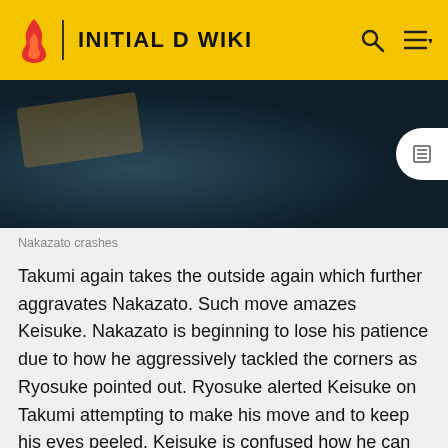INITIAL D WIKI
[Figure (photo): Dark scene image related to Nakazato crashing, shown as a dark teal/navy background image]
Nakazato crashes
Takumi again takes the outside again which further aggravates Nakazato. Such move amazes Keisuke. Nakazato is beginning to lose his patience due to how he aggressively tackled the corners as Ryosuke pointed out. Ryosuke alerted Keisuke on Takumi attempting to make his move and to keep his eyes peeled. Keisuke is confused how he can be able to do so with no space inside. Nakazato feels provoked by Takumi's taunting moves. He won't be able to attack the corners due to protecting the inside line and needs to try leave a huge gap in the